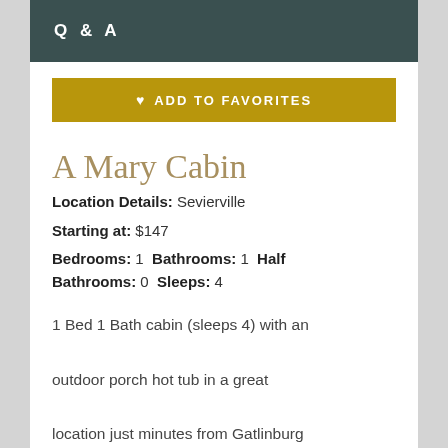Q & A
ADD TO FAVORITES
A Mary Cabin
Location Details: Sevierville
Starting at: $147
Bedrooms: 1 Bathrooms: 1 Half Bathrooms: 0 Sleeps: 4
1 Bed 1 Bath cabin (sleeps 4) with an outdoor porch hot tub in a great location just minutes from Gatlinburg